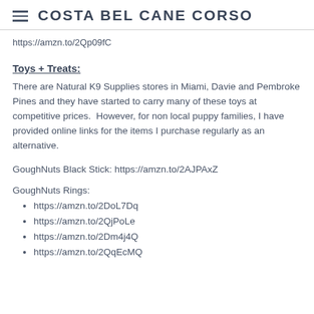COSTA BEL CANE CORSO
https://amzn.to/2Qp09fC
Toys + Treats:
There are Natural K9 Supplies stores in Miami, Davie and Pembroke Pines and they have started to carry many of these toys at competitive prices.  However, for non local puppy families, I have provided online links for the items I purchase regularly as an alternative.
GoughNuts Black Stick: https://amzn.to/2AJPAxZ
GoughNuts Rings:
https://amzn.to/2DoL7Dq
https://amzn.to/2QjPoLe
https://amzn.to/2Dm4j4Q
https://amzn.to/2QqEcMQ